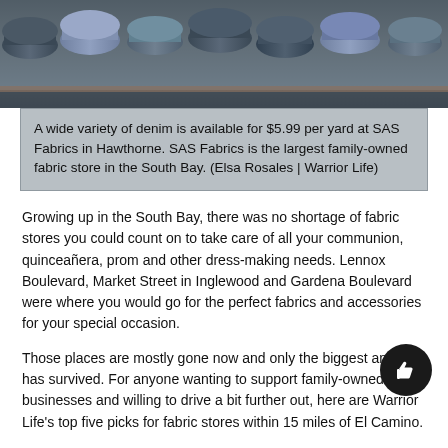[Figure (photo): Photo of rolled fabric bolts stored on shelves, predominantly denim in dark and light blue tones]
A wide variety of denim is available for $5.99 per yard at SAS Fabrics in Hawthorne. SAS Fabrics is the largest family-owned fabric store in the South Bay. (Elsa Rosales | Warrior Life)
Growing up in the South Bay, there was no shortage of fabric stores you could count on to take care of all your communion, quinceañera, prom and other dress-making needs. Lennox Boulevard, Market Street in Inglewood and Gardena Boulevard were where you would go for the perfect fabrics and accessories for your special occasion.
Those places are mostly gone now and only the biggest and best has survived. For anyone wanting to support family-owned businesses and willing to drive a bit further out, here are Warrior Life's top five picks for fabric stores within 15 miles of El Camino.
1. SAS Fabrics